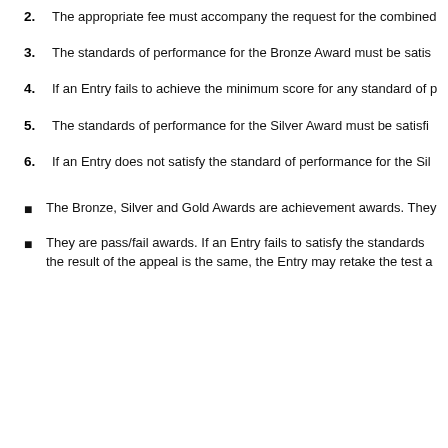2. The appropriate fee must accompany the request for the combined
3. The standards of performance for the Bronze Award must be satis
4. If an Entry fails to achieve the minimum score for any standard of p
5. The standards of performance for the Silver Award must be satisfi
6. If an Entry does not satisfy the standard of performance for the Sil
The Bronze, Silver and Gold Awards are achievement awards. They
They are pass/fail awards. If an Entry fails to satisfy the standards the result of the appeal is the same, the Entry may retake the test a